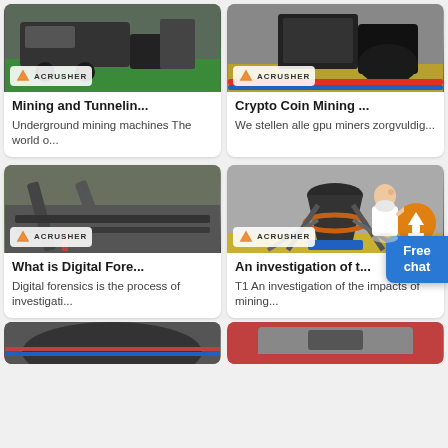[Figure (photo): Mining tunnel machine with Acrusher logo on green background]
Mining and Tunnelin...
Underground mining machines The world o...
[Figure (photo): Crusher/mining equipment with colorful hoses and Acrusher logo]
Crypto Coin Mining ...
We stellen alle gpu miners zorgvuldig...
[Figure (photo): Large industrial mining screening/conveyor equipment on a hillside with Acrusher logo]
What is Digital Fore...
Digital forensics is the process of investigati...
[Figure (photo): Cone crusher machine in factory/warehouse with Acrusher logo and orange upload icon]
An investigation of t...
T1 An investigation of the impacts of mining...
[Figure (photo): Mining equipment bottom row left]
[Figure (photo): Mining equipment bottom row right]